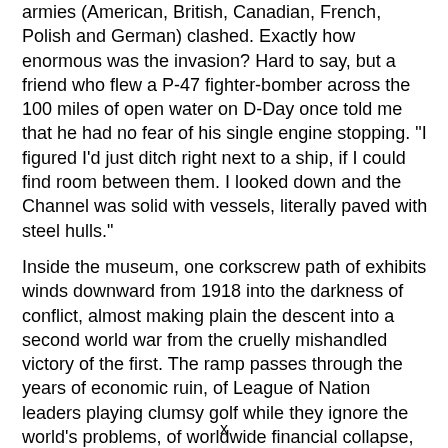armies (American, British, Canadian, French, Polish and German) clashed. Exactly how enormous was the invasion? Hard to say, but a friend who flew a P-47 fighter-bomber across the 100 miles of open water on D-Day once told me that he had no fear of his single engine stopping. "I figured I'd just ditch right next to a ship, if I could find room between them. I looked down and the Channel was solid with vessels, literally paved with steel hulls."
Inside the museum, one corkscrew path of exhibits winds downward from 1918 into the darkness of conflict, almost making plain the descent into a second world war from the cruelly mishandled victory of the first. The ramp passes through the years of economic ruin, of League of Nation leaders playing clumsy golf while they ignore the world's problems, of worldwide financial collapse, of Hitler's rise and, in a starkly honest statement--this is a French museum, after all--a painful description of the fall of France. "For the first time in recent history," the exhibit caption reads, "an imperial
x